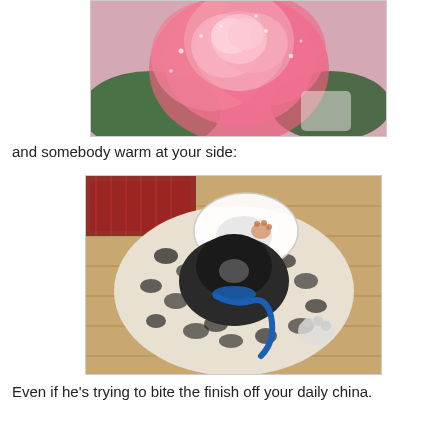[Figure (photo): Close-up photo of a large pink rose or peony flower with water droplets on the petals, green leaves visible in background]
and somebody warm at your side:
[Figure (photo): Overhead photo of a pug dog wearing a blue leash and a white cone/Elizabethan collar, lying on a leopard-print blanket on a wooden floor, next to a red rug]
Even if he's trying to bite the finish off your daily china.